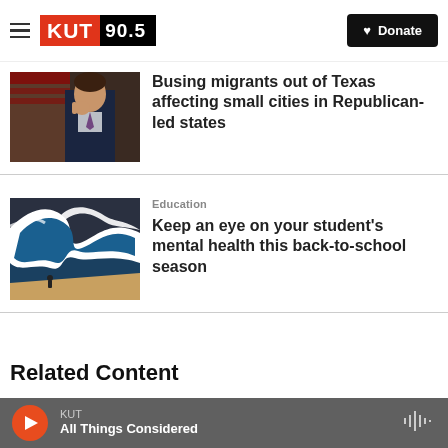KUT 90.5 | Donate
[Figure (photo): Photo of a man in a suit, possibly a politician, with a pensive expression]
Busing migrants out of Texas affecting small cities in Republican-led states
[Figure (illustration): Illustration of a large ocean wave with a small figure sitting on the beach]
Education
Keep an eye on your student's mental health this back-to-school season
Related Content
KUT | All Things Considered